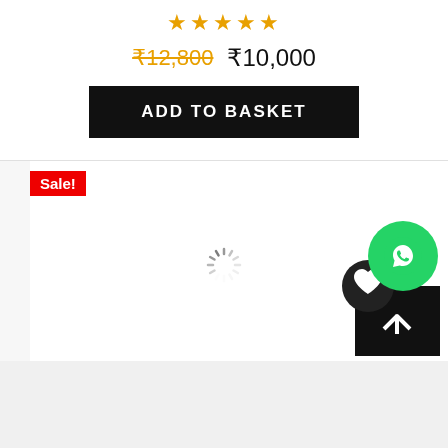★★★★★
₹12,800 ₹10,000
ADD TO BASKET
Sale!
[Figure (illustration): WhatsApp chat button (green circle with white speech bubble icon)]
[Figure (illustration): Loading spinner (circular grey dashed spinner)]
[Figure (illustration): Wishlist/favourite button (dark circle with heart icon overlapping a black square with up arrow)]